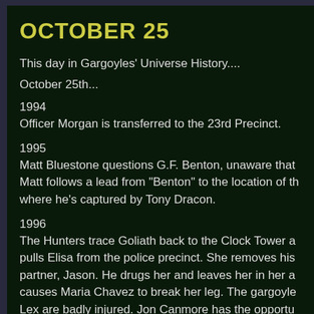OCTOBER 25
This day in Gargoyles' Universe History....
October 25th...
1994
Officer Morgan is transferred to the 23rd Precinct.
1995
Matt Bluestone questions G.F. Benton, unaware that Matt follows a lead from "Benton" to the location of th where he's captured by Tony Dracon.
1996
The Hunters trace Goliath back to the Clock Tower a pulls Elisa from the police precinct. She removes his partner, Jason. He drugs her and leaves her in her a causes Maria Chavez to break her leg. The gargoyle Lex are badly injured. Jon Canmore has the opportu them to flee the Clock Tower. Unfortunately, Robyn fo